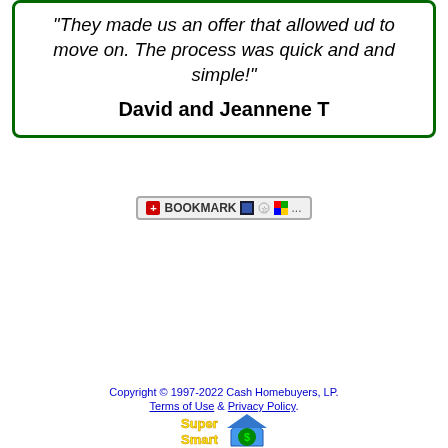"They made us an offer that allowed ud to move on. The process was quick and and simple!"
David and Jeannene T
[Figure (other): Bookmark button with social sharing icons]
[Figure (infographic): Navigation grid with blue buttons: WE BUY HOUSES, GET CASH OFFER, HOW IT WORKS, WHERE WE BUY, FREE REPORTS (with dropdown arrow), MORE LINKS (with dropdown arrow)]
Copyright © 1997-2022 Cash Homebuyers, LP.
Terms of Use & Privacy Policy.
[Figure (logo): Super Smart logo with yellow and blue text and house icon with dollar sign]